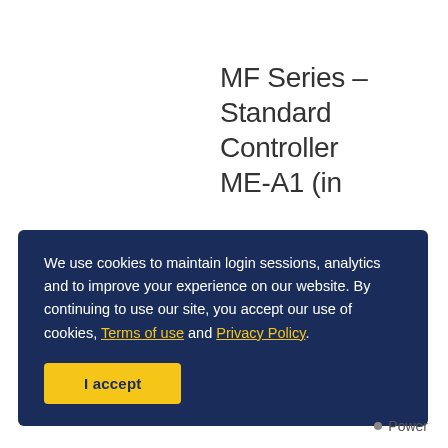MF Series – Standard Controller ME-A1 (in
We use cookies to maintain login sessions, analytics and to improve your experience on our website. By continuing to use our site, you accept our use of cookies, Terms of use and Privacy Policy.
I accept
Power